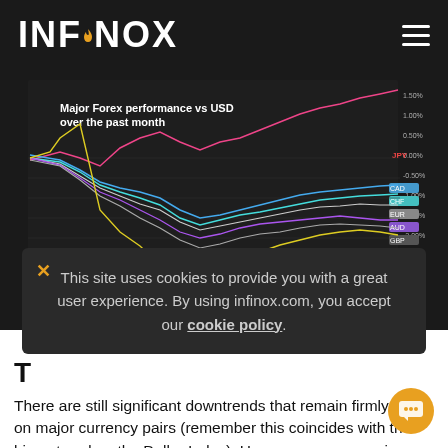INFINOX
[Figure (continuous-plot): Line chart titled 'Major Forex performance vs USD over the past month' on dark background, showing multiple colored lines (JPY in pink, CAD in blue, CHF in cyan, EUR in white, AUD in purple, GBP in white, NZD in yellow) over time with legend showing currency names and small colored value labels on the right side.]
This site uses cookies to provide you with a great user experience. By using infinox.com, you accept our cookie policy.
T
There are still significant downtrends that remain firmly intact on major currency pairs (remember this coincides with the big uptrend on the Dollar Index). However, we are seeing some decisive recoveries now forming. For now,